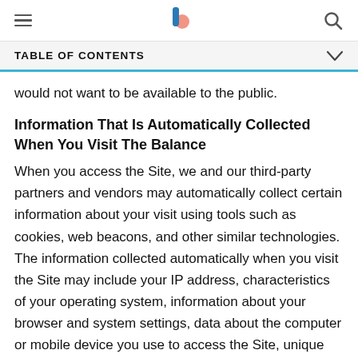Navigation bar with hamburger menu, The Balance logo, and search icon
TABLE OF CONTENTS
would not want to be available to the public.
Information That Is Automatically Collected When You Visit The Balance
When you access the Site, we and our third-party partners and vendors may automatically collect certain information about your visit using tools such as cookies, web beacons, and other similar technologies. The information collected automatically when you visit the Site may include your IP address, characteristics of your operating system, information about your browser and system settings, data about the computer or mobile device you use to access the Site, unique device identifiers, clickstream data (which shows the page-by-